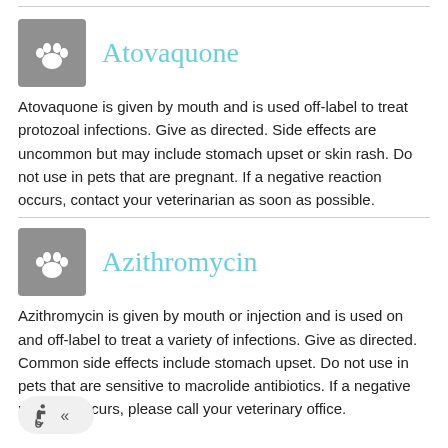Atovaquone
Atovaquone is given by mouth and is used off-label to treat protozoal infections. Give as directed. Side effects are uncommon but may include stomach upset or skin rash. Do not use in pets that are pregnant. If a negative reaction occurs, contact your veterinarian as soon as possible.
Azithromycin
Azithromycin is given by mouth or injection and is used on and off-label to treat a variety of infections. Give as directed. Common side effects include stomach upset. Do not use in pets that are sensitive to macrolide antibiotics. If a negative reaction occurs, please call your veterinary office.